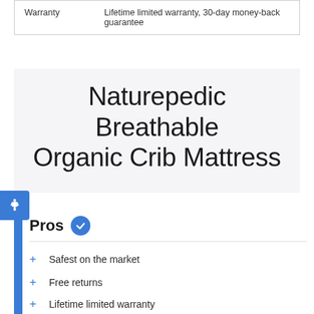|  |  |
| --- | --- |
| Warranty | Lifetime limited warranty, 30-day money-back guarantee |
Naturepedic Breathable Organic Crib Mattress
Pros
Safest on the market
Free returns
Lifetime limited warranty